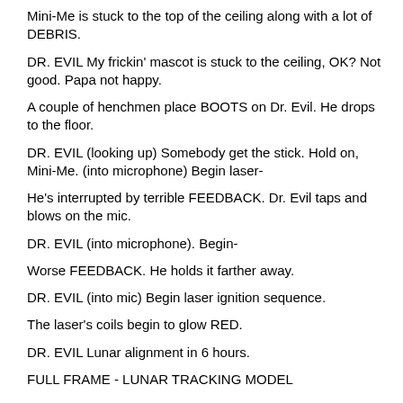Mini-Me is stuck to the top of the ceiling along with a lot of DEBRIS.
DR. EVIL My frickin' mascot is stuck to the ceiling, OK? Not good. Papa not happy.
A couple of henchmen place BOOTS on Dr. Evil. He drops to the floor.
DR. EVIL (looking up) Somebody get the stick. Hold on, Mini-Me. (into microphone) Begin laser-
He's interrupted by terrible FEEDBACK. Dr. Evil taps and blows on the mic.
DR. EVIL (into microphone). Begin-
Worse FEEDBACK. He holds it farther away.
DR. EVIL (into mic) Begin laser ignition sequence.
The laser's coils begin to glow RED.
DR. EVIL Lunar alignment in 6 hours.
FULL FRAME - LUNAR TRACKING MODEL